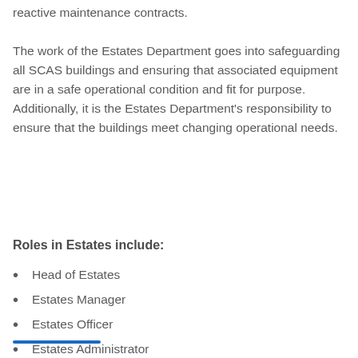reactive maintenance contracts.
The work of the Estates Department goes into safeguarding all SCAS buildings and ensuring that associated equipment are in a safe operational condition and fit for purpose. Additionally, it is the Estates Department’s responsibility to ensure that the buildings meet changing operational needs.
Roles in Estates include:
Head of Estates
Estates Manager
Estates Officer
Estates Administrator